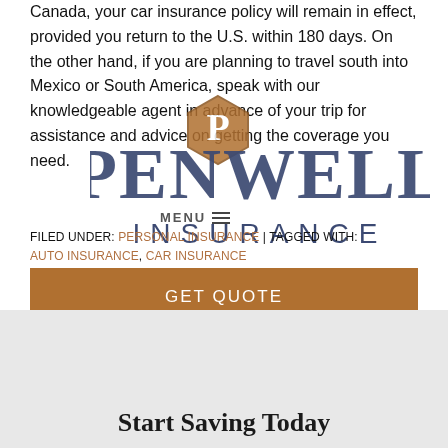Canada, your car insurance policy will remain in effect, provided you return to the U.S. within 180 days. On the other hand, if you are planning to travel south into Mexico or South America, speak with our knowledgeable agent in advance of your trip for assistance and advice on getting the coverage you need.
[Figure (logo): Penwell Insurance logo with hexagonal P emblem and large PENWELL INSURANCE text in navy blue]
FILED UNDER: PERSONAL INSURANCE | TAGGED WITH: AUTO INSURANCE, CAR INSURANCE
GET QUOTE
Start Saving Today